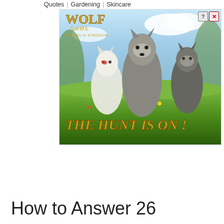Quotes  |  Gardening  |  Skincare
[Figure (photo): Advertisement for Wolf Game: The Wild Kingdom mobile game, showing three CGI wolves standing in a meadow with yellow flowers. Text reads 'THE HUNT IS ON!' with the Wolf Game logo in the top left. Ad close buttons (? and X) visible in top right corner.]
How to Answer 26